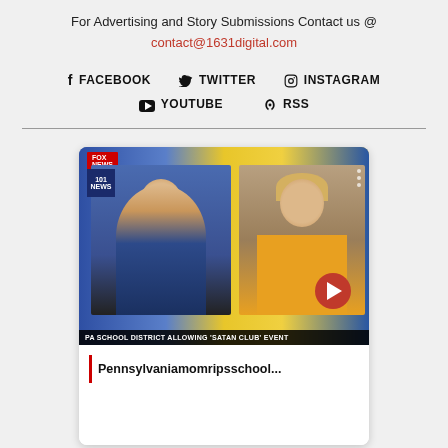For Advertising and Story Submissions Contact us @
contact@1631digital.com
FACEBOOK  TWITTER  INSTAGRAM  YOUTUBE  RSS
[Figure (screenshot): Video thumbnail showing a Fox News broadcast with a male anchor on left and a female guest on right, with a lower-third ticker reading 'PA SCHOOL DISTRICT ALLOWING 'SATAN CLUB' EVENT' and a video title overlay 'Pennsylvaniamomripsschool...']
Pennsylvaniamomripsschool...